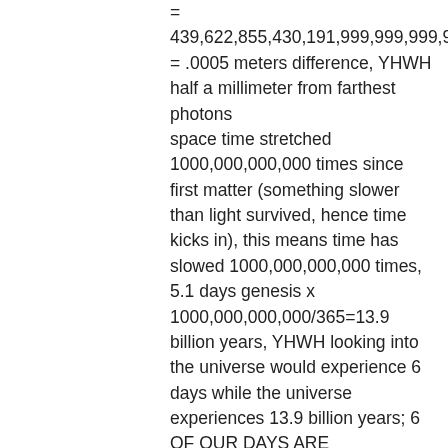= 439,622,855,430,191,999,999,999,999.99956 = .0005 meters difference, YHWH half a millimeter from farthest photons space time stretched 1,000,000,000,000 times since first matter (something slower than light survived, hence time kicks in), this means time has slowed 1000,000,000,000 times, 5.1 days genesis x 1000,000,000,000/365=13.9 billion years, YHWH looking into the universe would experience 6 days while the universe experiences 13.9 billion years; 6 OF OUR DAYS ARE STRETCHED OUT AND CONTAIN 14 BILLION EARLY YEARS OF THE UNIVERSE……………………………………………………………………………………………………………………………………………………